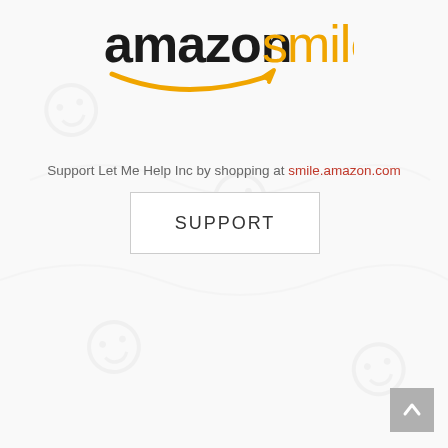[Figure (logo): AmazonSmile logo — 'amazon' in dark/black text with orange smile arrow, 'smile' in orange text]
Support Let Me Help Inc by shopping at smile.amazon.com
SUPPORT